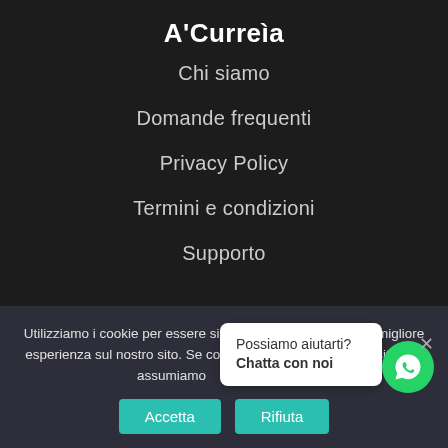A'Curreìa
Chi siamo
Domande frequenti
Privacy Policy
Termini e condizioni
Supporto
Il mio account
Profilo
Utilizziamo i cookie per essere sicuri che tu possa avere la migliore esperienza sul nostro sito. Se continui ad utilizzare questo sito, noi assumiamo che tu ne sia felice.
Possiamo aiutarti? Chatta con noi